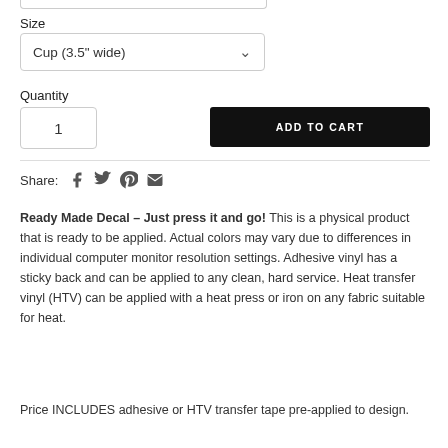Size
Cup (3.5" wide)
Quantity
1
ADD TO CART
Share:
Ready Made Decal – Just press it and go! This is a physical product that is ready to be applied.  Actual colors may vary due to differences in individual computer monitor resolution settings. Adhesive vinyl has a sticky back and can be applied to any clean, hard service.  Heat transfer vinyl (HTV) can be applied with a heat press or iron on any fabric suitable for heat.
Price INCLUDES adhesive or HTV transfer tape pre-applied to design.